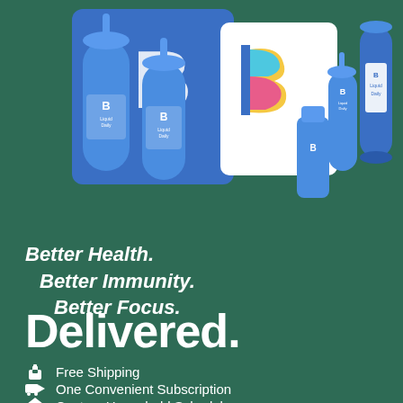[Figure (photo): Product photo showing blue 'Liquid Daily' supplement bottles, a blue branded box with white B logo, a white card with colorful B logo, and a cylindrical container, arranged on a green background]
Better Health. Better Immunity. Better Focus.
Delivered.
Free Shipping
One Convenient Subscription
Custom Household Schedule
Pause or Cancel Any Time